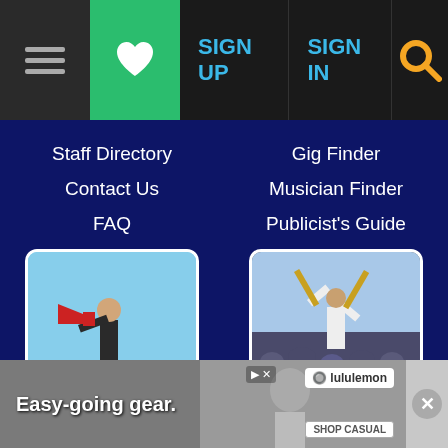[Figure (screenshot): Navigation bar with hamburger menu icon, green heart/favorites button, SIGN UP and SIGN IN links in blue, and yellow search icon]
Staff Directory
Contact Us
FAQ
Gig Finder
Musician Finder
Publicist's Guide
[Figure (photo): Person in suit holding a megaphone/bullhorn, shouting outdoors]
[Figure (photo): Performer on stage at large outdoor concert with crowd and raised arms]
ADVERTISE
FOLLOW
Place Order
Rates and Options
For Musicians
Newsletter
Embeddables
RSS
Twitter
[Figure (photo): Advertisement banner: Easy-going gear. lululemon. Shop Casual.]